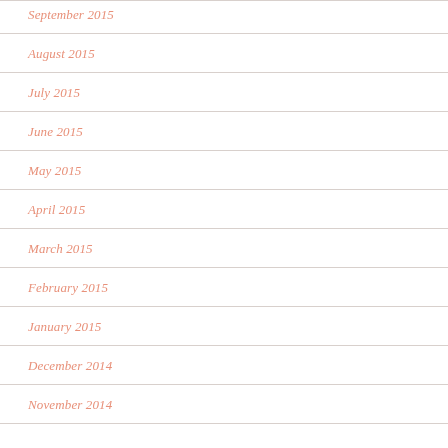September 2015
August 2015
July 2015
June 2015
May 2015
April 2015
March 2015
February 2015
January 2015
December 2014
November 2014